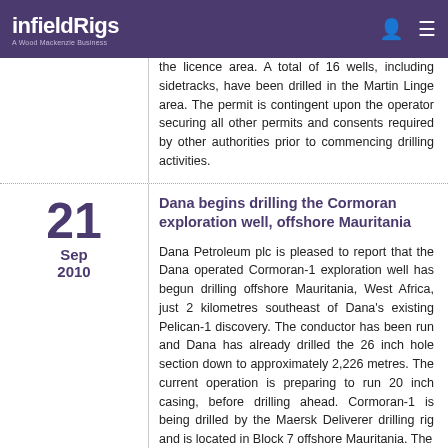infieldRigs — A Wood Mackenzie Business
the licence area. A total of 16 wells, including sidetracks, have been drilled in the Martin Linge area. The permit is contingent upon the operator securing all other permits and consents required by other authorities prior to commencing drilling activities.
Dana begins drilling the Cormoran exploration well, offshore Mauritania
21 Sep 2010
Dana Petroleum plc is pleased to report that the Dana operated Cormoran-1 exploration well has begun drilling offshore Mauritania, West Africa, just 2 kilometres southeast of Dana's existing Pelican-1 discovery. The conductor has been run and Dana has already drilled the 26 inch hole section down to approximately 2,226 metres. The current operation is preparing to run 20 inch casing, before drilling ahead. Cormoran-1 is being drilled by the Maersk Deliverer drilling rig and is located in Block 7 offshore Mauritania. The